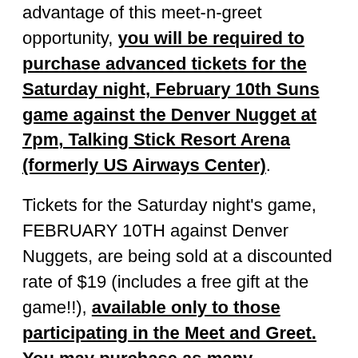advantage of this meet-n-greet opportunity, you will be required to purchase advanced tickets for the Saturday night, February 10th Suns game against the Denver Nugget at 7pm, Talking Stick Resort Arena (formerly US Airways Center). Tickets for the Saturday night's game, FEBRUARY 10TH against Denver Nuggets, are being sold at a discounted rate of $19 (includes a free gift at the game!!), available only to those participating in the Meet and Greet. You may purchase as many tickets as possible for friends and